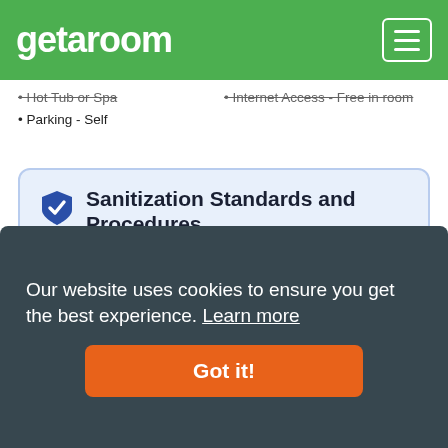getaroom
Hot Tub or Spa
Parking - Self
Internet Access - Free in room
Sanitization Standards and Procedures
Acrylic shield between guests and staff in main contact areas
Contactless check-out is available
Guests are provided with free hand sanitizer
Individually-wrapped food options are available
Individually-wrapped food options are available for breakfast
Individually-wrapped food options are available for dinner
Individually-wrapped food options are available for lunch
Individually-wrapped food options are available through room service
Our website uses cookies to ensure you get the best experience. Learn more
Got it!